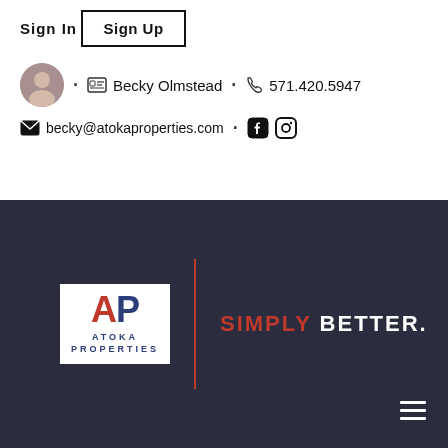Sign In
Sign Up
· Becky Olmstead · 571.420.5947
becky@atokaproperties.com · [Facebook] [Instagram]
[Figure (logo): Atoka Properties logo with 'AP' letters and tagline SIMPLY BETTER.]